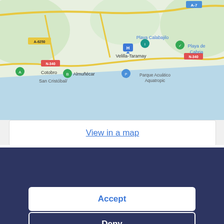[Figure (map): Google Maps screenshot showing coastal area near Almuñécar, Spain. Shows locations: Playa Calabajilo, Playa de Cabria, Velilla-Taramay, Cotobro, Almuñécar, San Cristóbal, Parque Acuático Aquatropic. Roads N-340 and A-7 visible. Blue sea area visible.]
View in a map
This website stores data such as cookies to enable essential site functionality, as well as marketing, personalization, and analytics. Cookie Policy
Accept
Deny